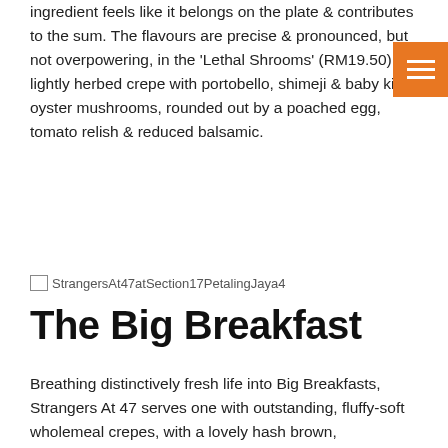ingredient feels like it belongs on the plate & contributes to the sum. The flavours are precise & pronounced, but not overpowering, in the 'Lethal Shrooms' (RM19.50), a lightly herbed crepe with portobello, shimeji & baby king oyster mushrooms, rounded out by a poached egg, tomato relish & reduced balsamic.
[Figure (other): Broken image placeholder labeled StrangersAt47atSection17PetalingJaya4]
The Big Breakfast
Breathing distinctively fresh life into Big Breakfasts, Strangers At 47 serves one with outstanding, fluffy-soft wholemeal crepes, with a lovely hash brown, caramelised onions mixed with baked beans, a sunny-side-up, chicken chorizo, smoked chicken ham, butter-sauteed portobello & lemon-laced rocket salad. RM23; even the ordinary-sounding components here are top-notch. The baked beans boast a fresh bite to them, while Strangers At 47's various sauces are lively & well-thought-out.